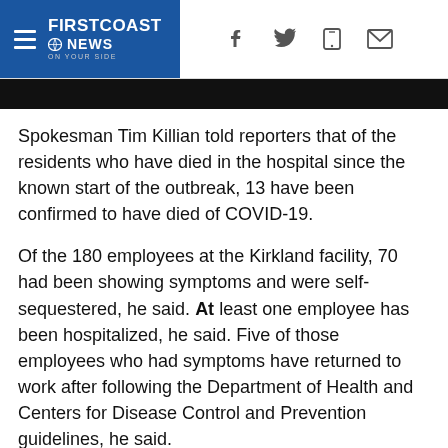FIRSTCOAST NEWS
[Figure (photo): Black image bar at top of article]
Spokesman Tim Killian told reporters that of the residents who have died in the hospital since the known start of the outbreak, 13 have been confirmed to have died of COVID-19.
Of the 180 employees at the Kirkland facility, 70 had been showing symptoms and were self-sequestered, he said. At least one employee has been hospitalized, he said. Five of those employees who had symptoms have returned to work after following the Department of Health and Centers for Disease Control and Prevention guidelines, he said.
12:40 p.m.
Public Health - Seattle & King County reported 33 new cases of coronavirus, bringing the official total number of cases in the county to 116. Three new deaths were also reported, bringing the total number of King County deaths